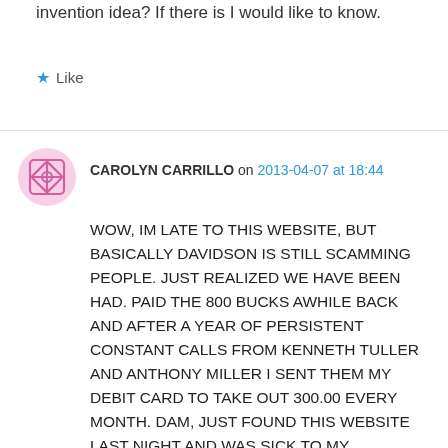invention idea? If there is I would like to know.
★ Like
CAROLYN CARRILLO on 2013-04-07 at 18:44
WOW, IM LATE TO THIS WEBSITE, BUT BASICALLY DAVIDSON IS STILL SCAMMING PEOPLE. JUST REALIZED WE HAVE BEEN HAD. PAID THE 800 BUCKS AWHILE BACK AND AFTER A YEAR OF PERSISTENT CONSTANT CALLS FROM KENNETH TULLER AND ANTHONY MILLER I SENT THEM MY DEBIT CARD TO TAKE OUT 300.00 EVERY MONTH. DAM, JUST FOUND THIS WEBSITE LAST NIGHT AND WAS SICK TO MY STOMACH. CALLED MY BANK TODAY TO